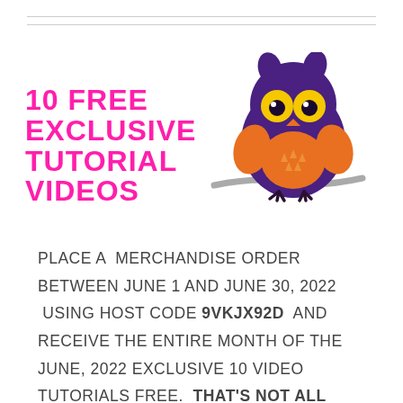[Figure (illustration): Cartoon purple owl sitting on a grey branch with yellow eyes, orange belly with triangle markings, and orange wings. Next to the owl is bold magenta/pink text reading '10 FREE EXCLUSIVE TUTORIAL VIDEOS'.]
PLACE A  MERCHANDISE ORDER BETWEEN JUNE 1 AND JUNE 30, 2022  USING HOST CODE 9VKJX92D  AND RECEIVE THE ENTIRE MONTH OF THE JUNE, 2022 EXCLUSIVE 10 VIDEO TUTORIALS FREE.  THAT'S NOT ALL